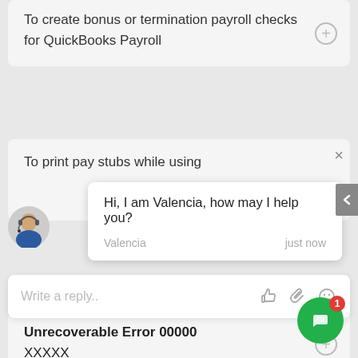To create bonus or termination payroll checks for QuickBooks Payroll
[Figure (screenshot): Chat overlay with avatar image of a woman with headset]
To print pay stubs while using
Hi, I am Valencia, how may I help you?
Valencia    just now
Write a reply..
Unrecoverable Error 00000
XXXXX
[Figure (screenshot): Green chat button with notification badge showing 1]